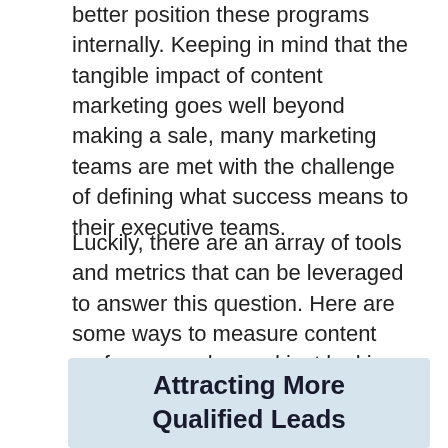better position these programs internally. Keeping in mind that the tangible impact of content marketing goes well beyond making a sale, many marketing teams are met with the challenge of defining what success means to their executive teams.
Luckily, there are an array of tools and metrics that can be leveraged to answer this question. Here are some ways to measure content performance, beyond just looking at purchases and profits.
Attracting More Qualified Leads